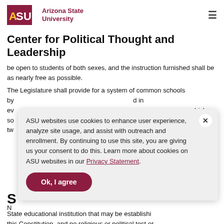ASU Arizona State University
Center for Political Thought and Leadership
be open to students of both sexes, and the instruction furnished shall be as nearly free as possible.
The Legislature shall provide for a system of common schools by ... d in ev ... hich so ... and tw ...
[Figure (screenshot): Cookie consent modal popup with close button, message about ASU websites using cookies, Privacy Statement link, and Ok I agree button]
S
N
State educational institution that may be established by this Constitution, and no religious or political test or